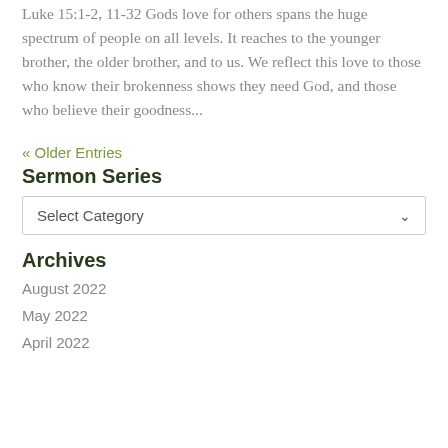Luke 15:1-2, 11-32 Gods love for others spans the huge spectrum of people on all levels. It reaches to the younger brother, the older brother, and to us. We reflect this love to those who know their brokenness shows they need God, and those who believe their goodness...
« Older Entries
Sermon Series
Select Category
Archives
August 2022
May 2022
April 2022